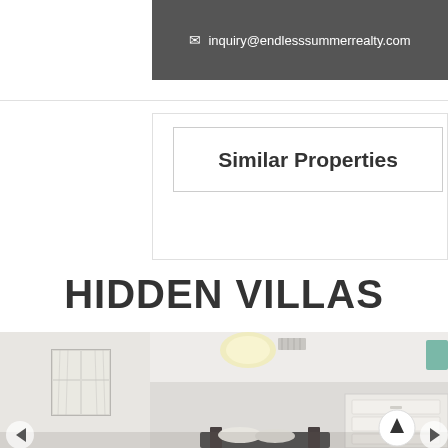inquiry@endlesssummerrealty.com
Similar Properties
HIDDEN VILLAS
[Figure (photo): Interior bedroom photo showing white walls, a window with curtains on the left, a ceiling light fixture, and a white dresser on the right side. A bed frame is partially visible at the bottom center.]